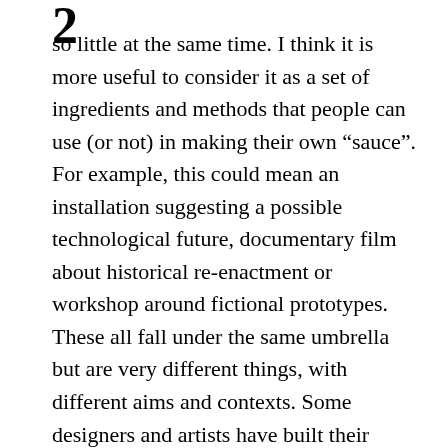so little at the same time. I think it is more useful to consider it as a set of ingredients and methods that people can use (or not) in making their own “sauce”. For example, this could mean an installation suggesting a possible technological future, documentary film about historical re-enactment or workshop around fictional prototypes. These all fall under the same umbrella but are very different things, with different aims and contexts. Some designers and artists have built their whole practice around “speculation” while some students only use it as a testing ground to experiment during their studies. It is not always useful to group all of this together. I hope that the critique of this field will become more precise and start dissecting why a specific approach or project is or is not successful in its context.